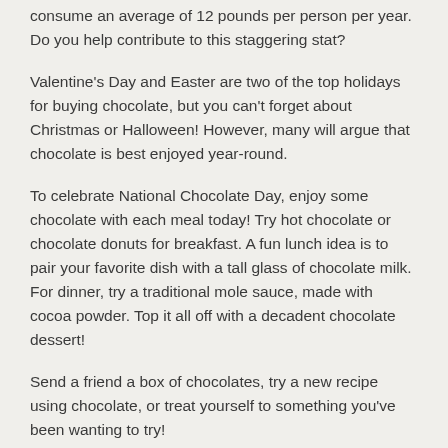consume an average of 12 pounds per person per year. Do you help contribute to this staggering stat?
Valentine's Day and Easter are two of the top holidays for buying chocolate, but you can't forget about Christmas or Halloween! However, many will argue that chocolate is best enjoyed year-round.
To celebrate National Chocolate Day, enjoy some chocolate with each meal today! Try hot chocolate or chocolate donuts for breakfast. A fun lunch idea is to pair your favorite dish with a tall glass of chocolate milk. For dinner, try a traditional mole sauce, made with cocoa powder. Top it all off with a decadent chocolate dessert!
Send a friend a box of chocolates, try a new recipe using chocolate, or treat yourself to something you've been wanting to try!
October 28, 2022 is also Frankenstein Friday | Global